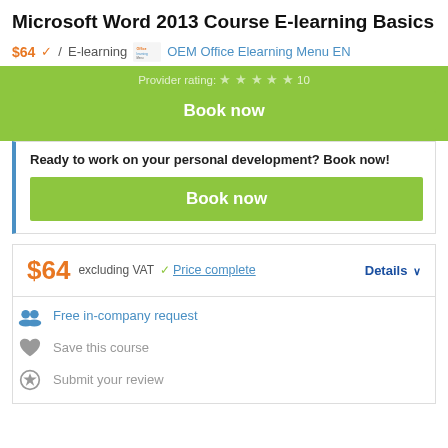Microsoft Word 2013 Course E-learning Basics
$64 ✓ / E-learning  OEM Office Elearning Menu EN
Provider rating: ★★★★★ 10
Book now
Ready to work on your personal development? Book now!
Book now
$64 excluding VAT ✓ Price complete  Details ∨
Free in-company request
Save this course
Submit your review